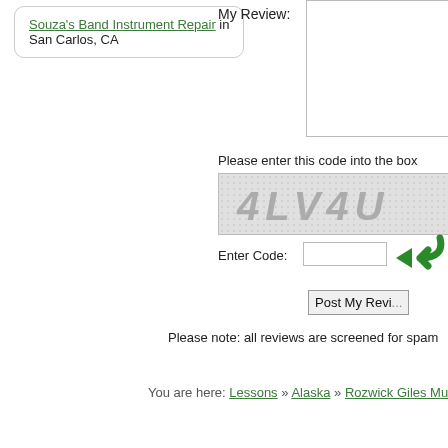Souza's Band Instrument Repair in San Carlos, CA
My Review:
Please enter this code into the box
[Figure (other): CAPTCHA image showing text '4LV4U' on a dotted/noisy background]
Enter Code:
[Figure (other): Green curved arrow pointing left toward the code input field]
Post My Revi...
Please note: all reviews are screened for spam
You are here: Lessons » Alaska » Rozwick Giles Music